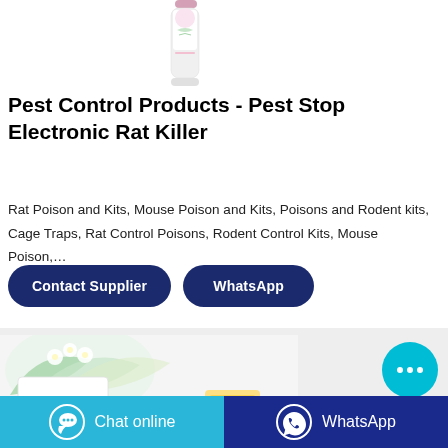[Figure (photo): Product image - spray can with pink label and white flowers]
Pest Control Products - Pest Stop Electronic Rat Killer
Rat Poison and Kits, Mouse Poison and Kits, Poisons and Rodent kits, Cage Traps, Rat Control Poisons, Rodent Control Kits, Mouse Poison,…
Contact Supplier
WhatsApp
[Figure (photo): Product lifestyle photo with flowers and white box, yellow packaging visible at bottom]
[Figure (other): Cyan chat bubble button with three dots]
Chat online   WhatsApp